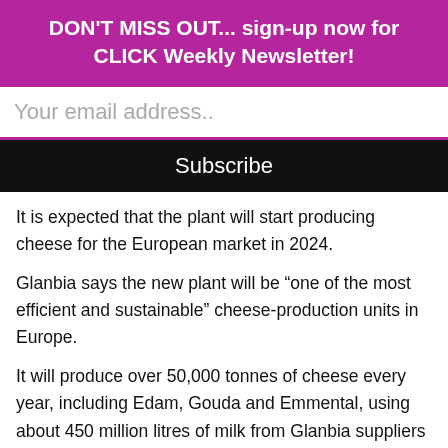DON'T MISS OUT... sign-up now for CLICK Weekly Newsletter!
Your email address..
Subscribe
It is expected that the plant will start producing cheese for the European market in 2024.
Glanbia says the new plant will be “one of the most efficient and sustainable” cheese-production units in Europe.
It will produce over 50,000 tonnes of cheese every year, including Edam, Gouda and Emmental, using about 450 million litres of milk from Glanbia suppliers every year.